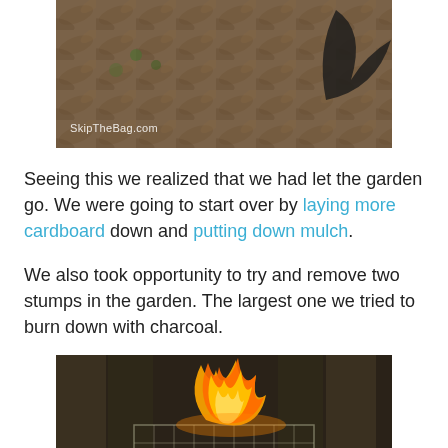[Figure (photo): Photo of a neglected garden bed covered in dead leaves and mulch, with a dark leaf visible on the right side. Watermark reads 'SkipTheBag.com' at bottom left.]
Seeing this we realized that we had let the garden go. We were going to start over by laying more cardboard down and putting down mulch.
We also took opportunity to try and remove two stumps in the garden. The largest one we tried to burn down with charcoal.
[Figure (photo): Photo of a large open flame burning inside a cylindrical wire mesh cage, with a wooden fence visible in the background.]